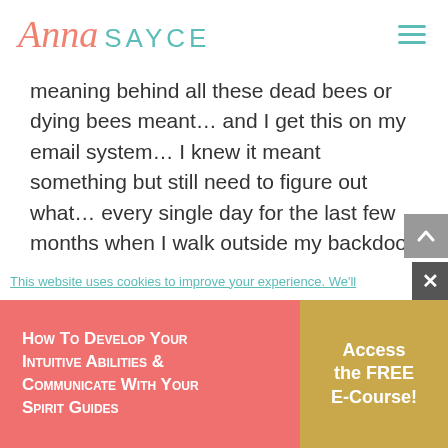[Figure (logo): Anna Sayce website logo with script 'Anna' in salmon/coral and 'SAYCE' in teal sans-serif, plus hamburger menu icon]
meaning behind all these dead bees or dying bees meant… and I get this on my email system… I knew it meant something but still need to figure out what… every single day for the last few months when I walk outside my backdoor I see one to several dead bees… and have been trying to research what it may mean.. but coming to a dead end all the time… I know deep down it
This website uses cookies to improve your experience. We'll
How to Develop your Intuitive Abilities & Communicate with your Spirit Guides
Access the FREE E-Course!